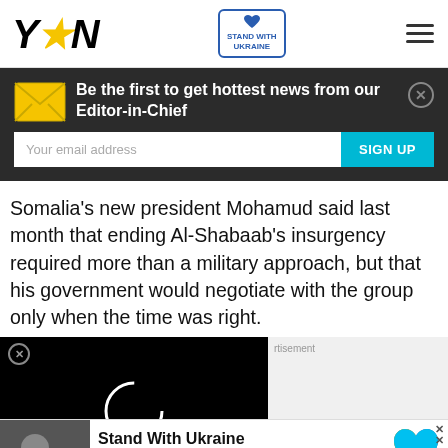YEN - Stand With Ukraine
Be the first to get hottest news from our Editor-in-Chief
Somalia's new president Mohamud said last month that ending Al-Shabaab's insurgency required more than a military approach, but that his government would negotiate with the group only when the time was right.
[Figure (screenshot): Video player with black background showing loading spinner circle]
[Figure (photo): Stand With Ukraine donation advertisement with heart logo and child photo]